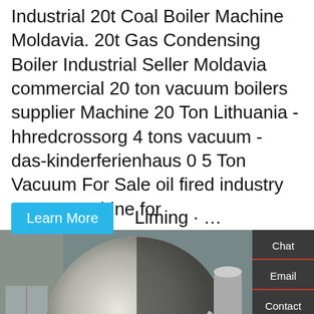Industrial 20t Coal Boiler Machine Moldavia. 20t Gas Condensing Boiler Industrial Seller Moldavia commercial 20 ton vacuum boilers supplier Machine 20 Ton Lithuania - hhredcrossorg 4 tons vacuum - das-kinderferienhaus 0 5 Ton Vacuum For Sale oil fired industry steam machine for Liming · ...
[Figure (photo): Industrial boiler machine in factory setting, with red burner component and silver cylindrical boiler body with Chinese text, metal exhaust pipes on right, window visible on left wall]
Hello, I'm Rachel, Welcome! we are boiler factory!
Seller 20t Diesel Fired Boiler...